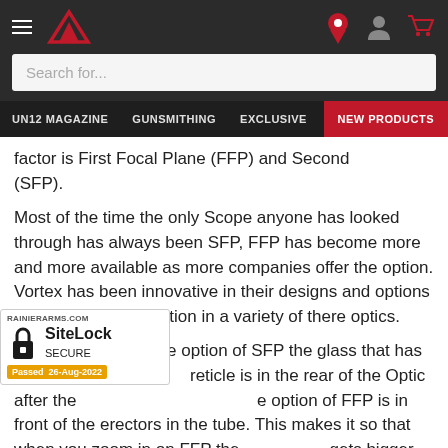Navigation bar with menu icon, Rainier Arms logo, location pin icon, user icon, cart icon
Search for...
UN12 MAGAZINE | GUNSMITHING | EXCLUSIVE | SALES | NEW PRODUCTS
factor is First Focal Plane (FFP) and Second (SFP).
Most of the time the only Scope anyone has looked through has always been SFP, FFP has become more and more available as more companies offer the option. Vortex has been innovative in their designs and options and offer the FFP option in a variety of there optics.
Lets get into it, on the option of SFP the glass that has reticle is in the rear of the Optic after the option of FFP is in front of the erectors in the tube. This makes it so that when you zoom in on FFP the reticle gets bigger. With most scopes that have now been able to add very fine detail to the reticle that allows for you to get an
[Figure (logo): SiteLock SECURE badge from rainierarms.com showing padlock icon, Passed 26-Aug-2022]
[Figure (logo): Google Rating badge showing G logo and 4.9 stars]